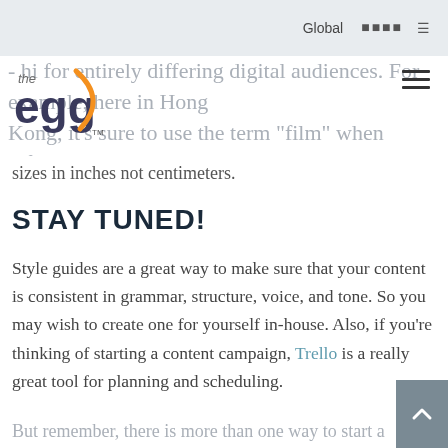Global [navigation icons]
sizes in inches not centimeters.
STAY TUNED!
Style guides are a great way to make sure that your content is consistent in grammar, structure, voice, and tone. So you may wish to create one for yourself in-house. Also, if you're thinking of starting a content campaign, Trello is a really great tool for planning and scheduling.